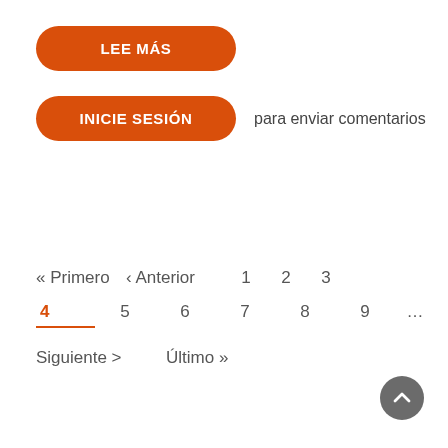LEE MÁS
INICIE SESIÓN  para enviar comentarios
« Primero   ‹ Anterior   1   2   3
4   5   6   7   8   9   ...
Siguiente >   Último »
[Figure (other): Scroll-to-top circular button with upward chevron icon]